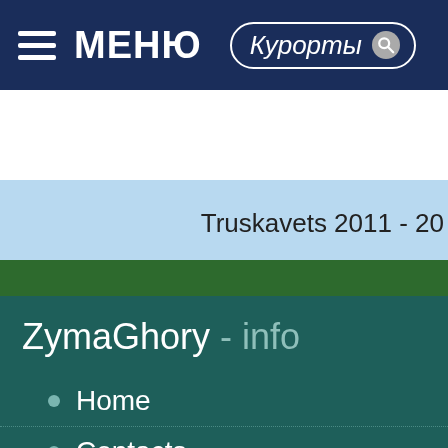МЕНЮ  Курорты
Truskavets 2011 - 20
ZymaGhory - info
Home
Contacts
Add page